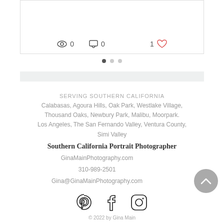[Figure (screenshot): Stats row showing eye icon with 0 views, comment icon with 0 comments, and 1 red heart like, along with pagination dots and a light gray bar — part of a website blog/portfolio UI]
SERVING SOUTHERN CALIFORNIA
Calabasas, Agoura Hills, Oak Park, Westlake Village,
Thousand Oaks, Newbury Park, Malibu, Moorpark.
Los Angeles, The San Fernando Valley, Ventura County,
Simi Valley
Southern California Portrait Photographer
GinaMainPhotography.com
310-989-2501
Gina@GinaMainPhotography.com
[Figure (other): Social media icons: Pinterest, Facebook, Instagram]
© 2022 by Gina Main